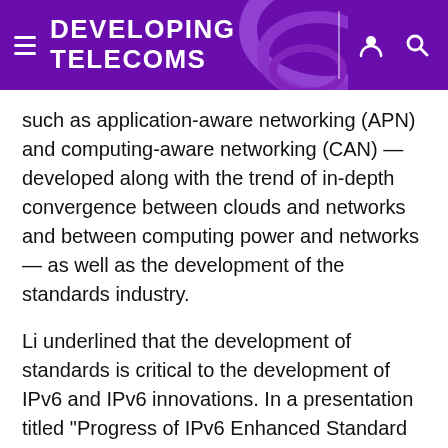DEVELOPING TELECOMS
such as application-aware networking (APN) and computing-aware networking (CAN) — developed along with the trend of in-depth convergence between clouds and networks and between computing power and networks — as well as the development of the standards industry.
Li underlined that the development of standards is critical to the development of IPv6 and IPv6 innovations. In a presentation titled "Progress of IPv6 Enhanced Standard and Industry", Li briefly introduced the IPv6 Enhanced technology system and its development status, emphasizing that IPv6 innovations are a growing trend in the global network field. The development of IPv6 Enhanced standards can be divided into three phases: 1.0 focusing on basic SRv6 capabilities, 2.0 focusing on